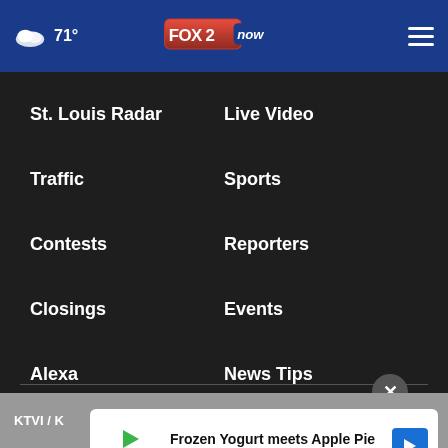71° FOX 2 now
St. Louis Radar
Live Video
Traffic
Sports
Contests
Reporters
Closings
Events
Alexa
News Tips
Newsletters
KTVI / K
[Figure (screenshot): Ad banner: Frozen Yogurt meets Apple Pie - sweetFrog]